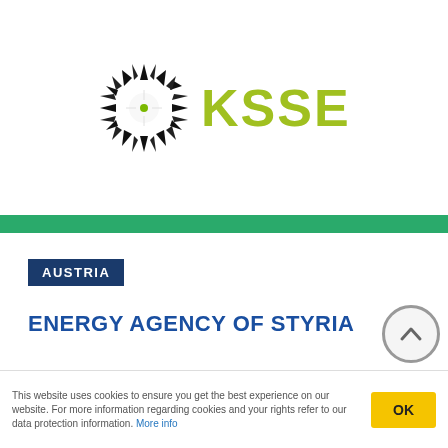[Figure (logo): KSSENA logo with sunburst/radial black and white icon and green stylized text KSSENA]
AUSTRIA
ENERGY AGENCY OF STYRIA
The Energy Agency of Styria is a non-profit private
This website uses cookies to ensure you get the best experience on our website. For more information regarding cookies and your rights refer to our data protection information. More info
OK